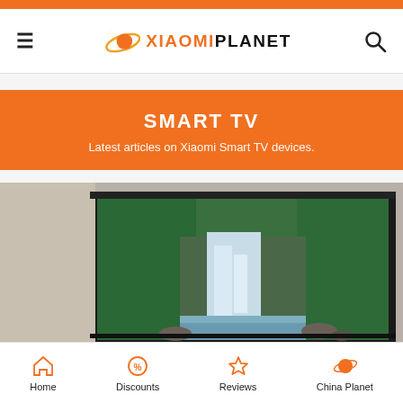Xiaomi Planet
SMART TV
Latest articles on Xiaomi Smart TV devices.
[Figure (photo): A large flat-screen TV mounted on a wall displaying a nature scene with a waterfall and green foliage]
Home | Discounts | Reviews | China Planet